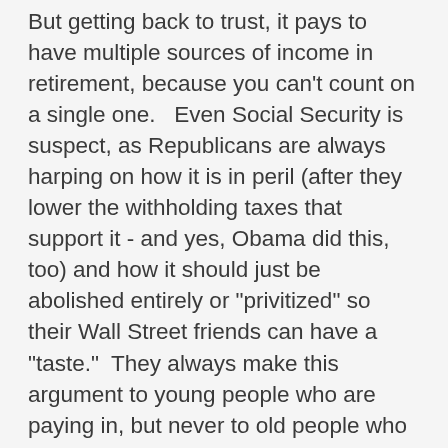But getting back to trust, it pays to have multiple sources of income in retirement, because you can't count on a single one.   Even Social Security is suspect, as Republicans are always harping on how it is in peril (after they lower the withholding taxes that support it - and yes, Obama did this, too) and how it should just be abolished entirely or "privitized" so their Wall Street friends can have a "taste."  They always make this argument to young people who are paying in, but never to old people who are taking out. Funny how that works, eh?  Pensions are fine an all, but as we have seen, can be shrunken in half - or down to nothing - in short order.  Even government pensions are in crises, as evidenced by the State of California's CALPERS plan.   And of course,